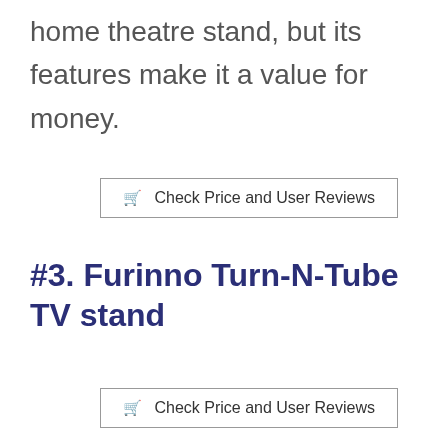home theatre stand, but its features make it a value for money.
Check Price and User Reviews
#3. Furinno Turn-N-Tube TV stand
Check Price and User Reviews